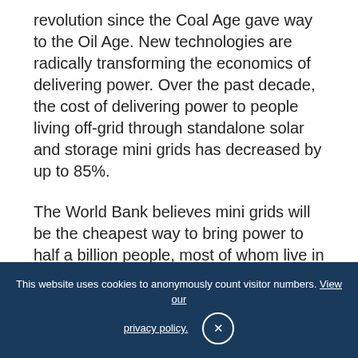revolution since the Coal Age gave way to the Oil Age. New technologies are radically transforming the economics of delivering power. Over the past decade, the cost of delivering power to people living off-grid through standalone solar and storage mini grids has decreased by up to 85%.
The World Bank believes mini grids will be the cheapest way to bring power to half a billion people, most of whom live in rural communities and would be considered low-income on any global scale. But although mini grids are already cheaper than the main grid in many areas, they are still too expensive to profitably connect these potential customers.
This website uses cookies to anonymously count visitor numbers. View our privacy policy. ×